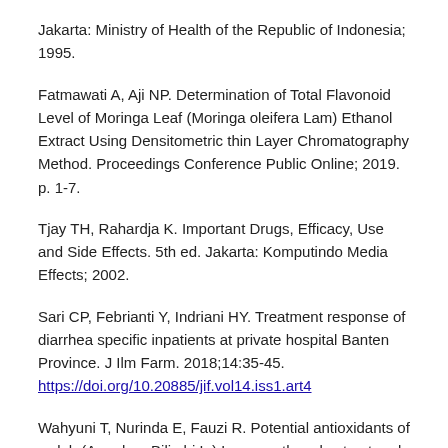Jakarta: Ministry of Health of the Republic of Indonesia; 1995.
Fatmawati A, Aji NP. Determination of Total Flavonoid Level of Moringa Leaf (Moringa oleifera Lam) Ethanol Extract Using Densitometric thin Layer Chromatography Method. Proceedings Conference Public Online; 2019. p. 1-7.
Tjay TH, Rahardja K. Important Drugs, Efficacy, Use and Side Effects. 5th ed. Jakarta: Komputindo Media Effects; 2002.
Sari CP, Febrianti Y, Indriani HY. Treatment response of diarrhea specific inpatients at private hospital Banten Province. J Ilm Farm. 2018;14:35-45. https://doi.org/10.20885/jif.vol14.iss1.art4
Wahyuni T, Nurinda E, Fauzi R. Potential antioxidants of wuluh (Averrhoa Bilimbi L.) Leaves ethanol extract and their effect on blood sugar levels in male Wistar rats induced by